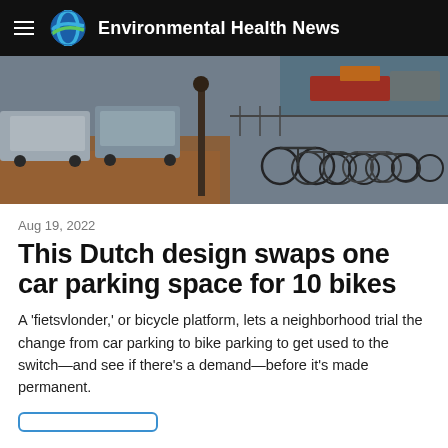Environmental Health News
[Figure (photo): Street scene with parked cars on the left and many bicycles parked along a canal or waterway on the right, with autumn leaves on the ground and a lamppost in the center.]
Aug 19, 2022
This Dutch design swaps one car parking space for 10 bikes
A 'fietsvlonder,' or bicycle platform, lets a neighborhood trial the change from car parking to bike parking to get used to the switch—and see if there's a demand—before it's made permanent.